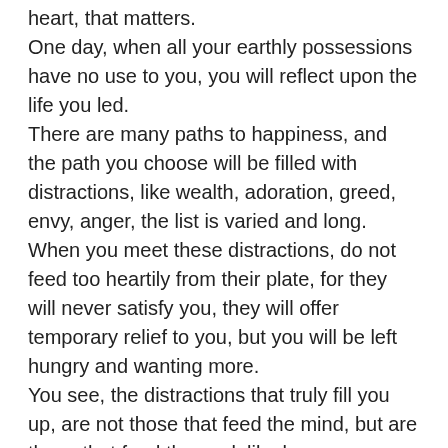heart, that matters. One day, when all your earthly possessions have no use to you, you will reflect upon the life you led. There are many paths to happiness, and the path you choose will be filled with distractions, like wealth, adoration, greed, envy, anger, the list is varied and long. When you meet these distractions, do not feed too heartily from their plate, for they will never satisfy you, they will offer temporary relief to you, but you will be left hungry and wanting more. You see, the distractions that truly fill you up, are not those that feed the mind, but are those that feed the soul, like love, compassion, kindness, humility and charity. These are the attributes that you take with you on the great journey, and when the mirror of your soul reflects these back to you, you'll feel pride in seeing these